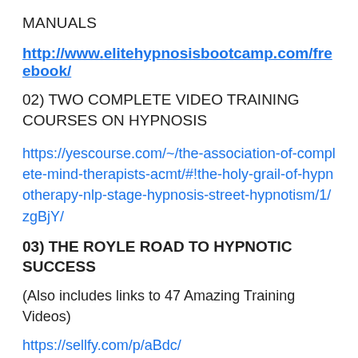MANUALS
http://www.elitehypnosisbootcamp.com/freebook/
02) TWO COMPLETE VIDEO TRAINING COURSES ON HYPNOSIS
https://yescourse.com/~/the-association-of-complete-mind-therapists-acmt/#!the-holy-grail-of-hypnotherapy-nlp-stage-hypnosis-street-hypnotism/1/zgBjY/
03) THE ROYLE ROAD TO HYPNOTIC SUCCESS
(Also includes links to 47 Amazing Training Videos)
https://sellfy.com/p/aBdc/
04) THE TOP TEN THINGS YOU SHOULD ASK ANY HYPNOSIS TRAINER BEFORE YOU EVER SPEND A